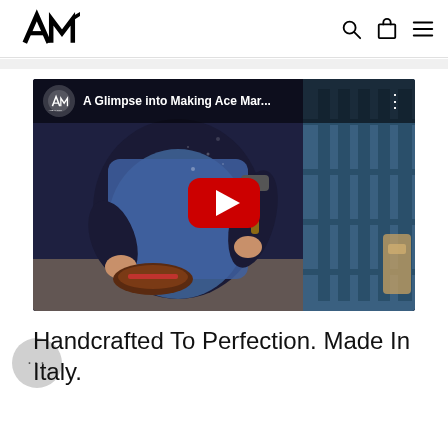AM (Ace Marks logo) — navigation with search, cart, and menu icons
[Figure (screenshot): YouTube video embed thumbnail showing a craftsman working on a shoe sole in a workshop. Video title: 'A Glimpse into Making Ace Mar...' with Ace Marks channel logo, three-dot menu icon, and red YouTube play button in the center.]
Handcrafted To Perfection. Made In Italy.